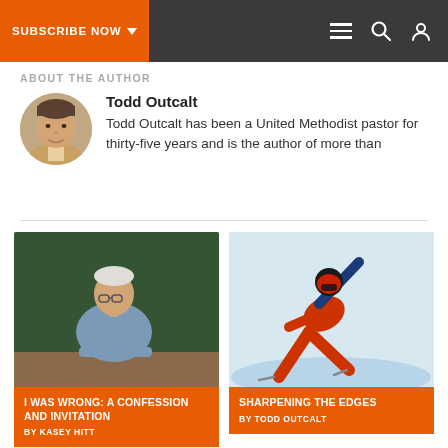SUBSCRIBE NOW
ABOUT THE AUTHOR
Todd Outcalt
Todd Outcalt has been a United Methodist pastor for thirty-five years and is the author of more than
[Figure (photo): Photo of older man with glasses sitting at desk in front of green chalkboard, chin on hand]
I WAS WRONG: A CONFESSION AND INVITATION
BY KASEY HITT
[Figure (photo): Photo of speed skater in red suit leaning low on ice rink]
SHARPENING THE EDGES
BY TODD OUTCALT